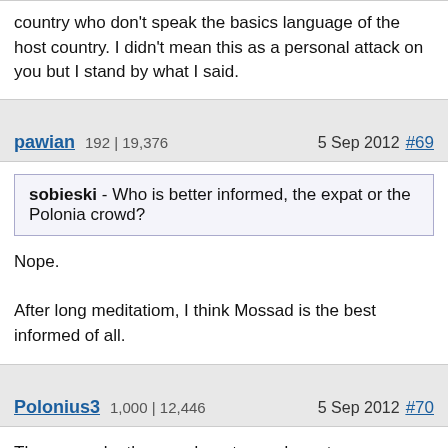country who don't speak the basics language of the host country. I didn't mean this as a personal attack on you but I stand by what I said.
pawian  192 | 19,376    5 Sep 2012  #69
sobieski - Who is better informed, the expat or the Polonia crowd?
Nope.

After long meditatiom, I think Mossad is the best informed of all.
Polonius3  1,000 | 12,446    5 Sep 2012  #70
Those people, the grandparetns and great-grandparents of most of today's Polish AMericans (90% of whom are US-born), came before World War One, worked hard, sarcificed, raised families, built churches and schools, had modest but well kept-up houses,